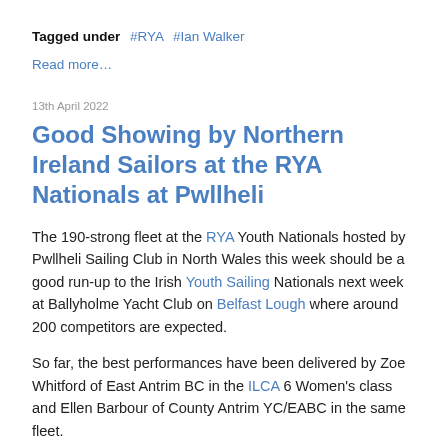Tagged under  #RYA  #Ian Walker
Read more…
13th April 2022
Good Showing by Northern Ireland Sailors at the RYA Nationals at Pwllheli
The 190-strong fleet at the RYA Youth Nationals hosted by Pwllheli Sailing Club in North Wales this week should be a good run-up to the Irish Youth Sailing Nationals next week at Ballyholme Yacht Club on Belfast Lough where around 200 competitors are expected.
So far, the best performances have been delivered by Zoe Whitford of East Antrim BC in the ILCA 6 Women's class and Ellen Barbour of County Antrim YC/EABC in the same fleet.